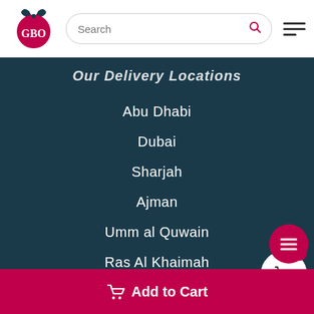[Figure (logo): GBO gift delivery logo - red circular logo with bow on top]
Search
Our Delivery Locations
Abu Dhabi
Dubai
Sharjah
Ajman
Umm al Quwain
Ras Al Khaimah
Muscat
Cake Delivery Near Me
Qatar
Add to Cart